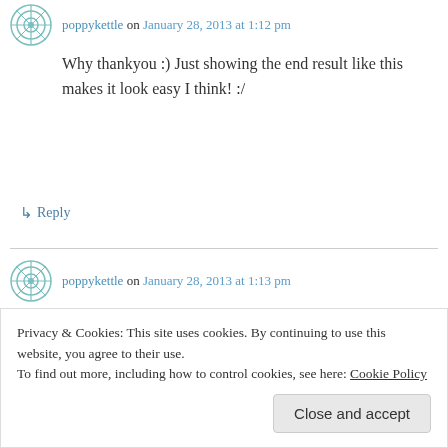poppykettle on January 28, 2013 at 1:12 pm
Why thankyou :) Just showing the end result like this makes it look easy I think! :/
↳ Reply
poppykettle on January 28, 2013 at 1:13 pm
It is! It's a bit of a wierd thing actually. See if you can't hunt some down, then practise on some scrap and compare to your normal knit finishing
Privacy & Cookies: This site uses cookies. By continuing to use this website, you agree to their use.
To find out more, including how to control cookies, see here: Cookie Policy
Close and accept